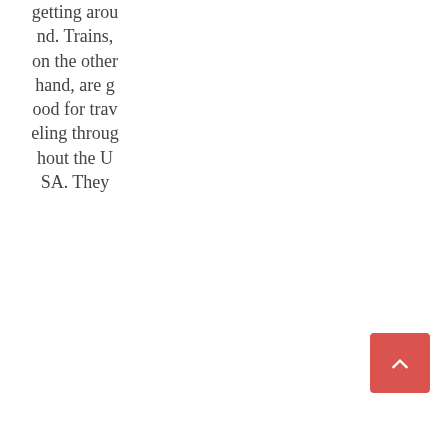getting around. Trains, on the other hand, are good for traveling throughout the USA. Th ey
[Figure (other): A scroll-to-top button with an upward-pointing chevron arrow on a salmon/red background, positioned at the bottom right of the page.]